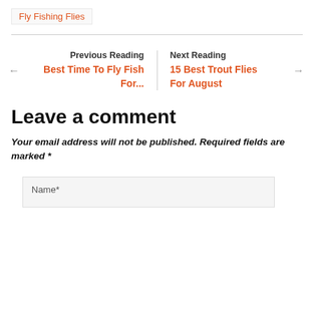Fly Fishing Flies
Previous Reading Best Time To Fly Fish For... | Next Reading 15 Best Trout Flies For August
Leave a comment
Your email address will not be published. Required fields are marked *
Name*